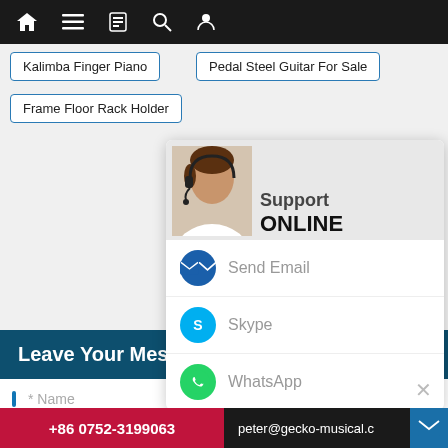Navigation bar with home, menu, contacts, search, and profile icons
Kalimba Finger Piano
Pedal Steel Guitar For Sale
Frame Floor Rack Holder
[Figure (screenshot): Support Online widget showing a customer service representative photo with Send Email, Skype, and WhatsApp contact options, and a close (X) button]
Leave Your Message
* Name
* Email (We will reply you via email in 24...)
Phone/WhatsApp/WeChat (Very important)
* Enter product details such as size, color, materials etc. and other specific requirements to receive an accurate
+86 0752-3199063   peter@gecko-musical.c